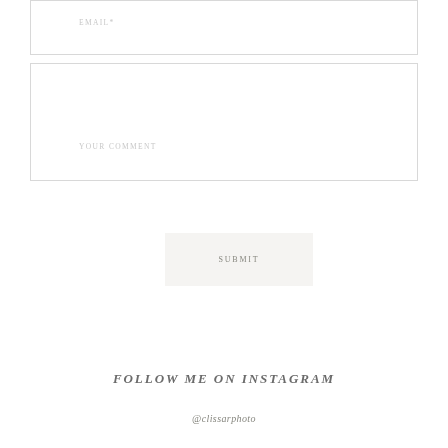EMAIL*
YOUR COMMENT
SUBMIT
FOLLOW ME ON INSTAGRAM
@clissarphoto